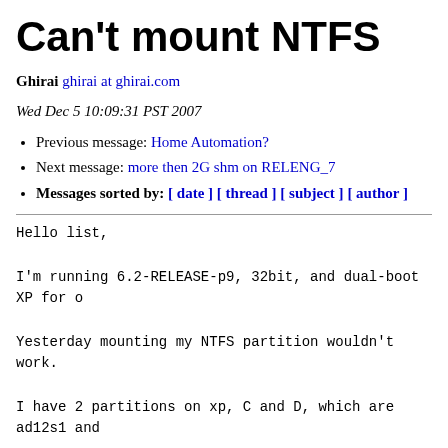Can't mount NTFS
Ghirai ghirai at ghirai.com
Wed Dec 5 10:09:31 PST 2007
Previous message: Home Automation?
Next message: more then 2G shm on RELENG_7
Messages sorted by: [ date ] [ thread ] [ subject ] [ author ]
Hello list,

I'm running 6.2-RELEASE-p9, 32bit, and dual-boot XP for o

Yesterday mounting my NTFS partition wouldn't work.

I have 2 partitions on xp, C and D, which are ad12s1 and

I can mount ad12s1 fine, but the other one doesn't work m

deimos# mount_ntfs /dev/ad12s2 /mnt/win
mount_ntfs: /dev/ad12s2: Invalid argument

Searching around led me to this site:
http://www.daemon-systems.org/man/mount_ntfs.8.html

Where they say...